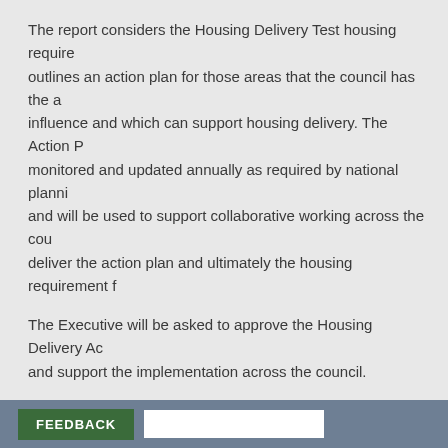The report considers the Housing Delivery Test housing requirement and outlines an action plan for those areas that the council has the ability to influence and which can support housing delivery. The Action Plan will be monitored and updated annually as required by national planning policy and will be used to support collaborative working across the council to deliver the action plan and ultimately the housing requirement for the area.
The Executive will be asked to approve the Housing Delivery Action Plan and support the implementation across the council.
Decision type: Non-key
Decision status: Decision Made
Wards affected: (All Wards);
Notice of proposed decision first published: 25/10/2021
FEEDBACK